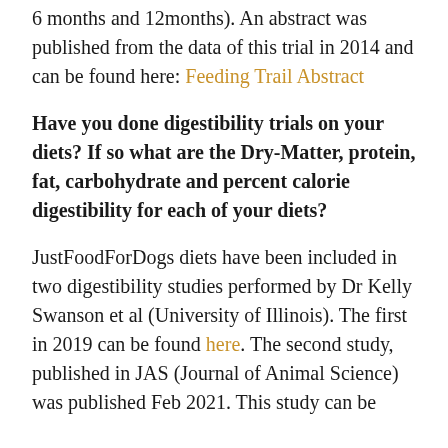6 months and 12months). An abstract was published from the data of this trial in 2014 and can be found here: Feeding Trail Abstract
Have you done digestibility trials on your diets? If so what are the Dry-Matter, protein, fat, carbohydrate and percent calorie digestibility for each of your diets?
JustFoodForDogs diets have been included in two digestibility studies performed by Dr Kelly Swanson et al (University of Illinois). The first in 2019 can be found here. The second study, published in JAS (Journal of Animal Science) was published Feb 2021. This study can be